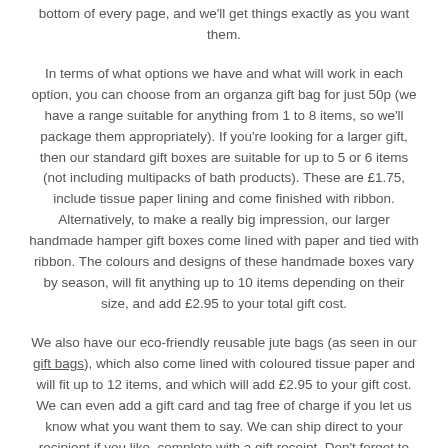bottom of every page, and we'll get things exactly as you want them.
In terms of what options we have and what will work in each option, you can choose from an organza gift bag for just 50p (we have a range suitable for anything from 1 to 8 items, so we'll package them appropriately). If you're looking for a larger gift, then our standard gift boxes are suitable for up to 5 or 6 items (not including multipacks of bath products). These are £1.75, include tissue paper lining and come finished with ribbon. Alternatively, to make a really big impression, our larger handmade hamper gift boxes come lined with paper and tied with ribbon. The colours and designs of these handmade boxes vary by season, will fit anything up to 10 items depending on their size, and add £2.95 to your total gift cost.
We also have our eco-friendly reusable jute bags (as seen in our gift bags), which also come lined with coloured tissue paper and will fit up to 12 items, and which will add £2.95 to your gift cost. We can even add a gift card and tag free of charge if you let us know what you want them to say. We can ship direct to your recipient if you like, complete with a gift receipt. Don't forget to add a gift message, so your recipient knows who it's from and so we know to include a gift delivery note without pricing information.